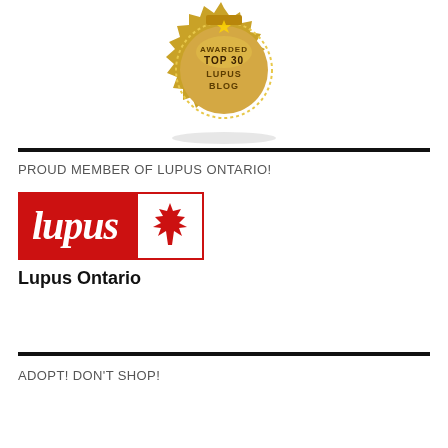[Figure (illustration): Gold award badge/seal with text 'AWARDED TOP 30 LUPUS BLOG' in the center, with decorative serrated edge and dotted border]
PROUD MEMBER OF LUPUS ONTARIO!
[Figure (logo): Lupus Ontario logo: red rectangle with white italic 'lupus' text, adjacent red-bordered white box with red maple leaf, and 'Lupus Ontario' text below in bold]
ADOPT! DON'T SHOP!